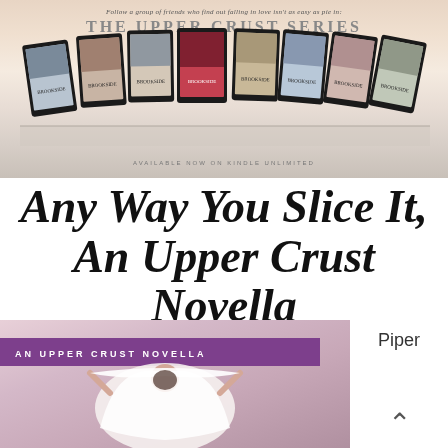[Figure (illustration): Promotional banner for The Upper Crust Series showing a row of ebook covers on tablet devices arranged on a white wooden surface, with text 'Follow a group of friends who find out falling in love isn't as easy as pie in: THE UPPER CRUST SERIES' and 'AVAILABLE NOW ON KINDLE UNLIMITED']
Any Way You Slice It, An Upper Crust Novella
[Figure (illustration): Book cover for 'Any Way You Slice It, An Upper Crust Novella' showing a bride in a white veil with a purple banner reading 'AN UPPER CRUST NOVELLA']
Piper